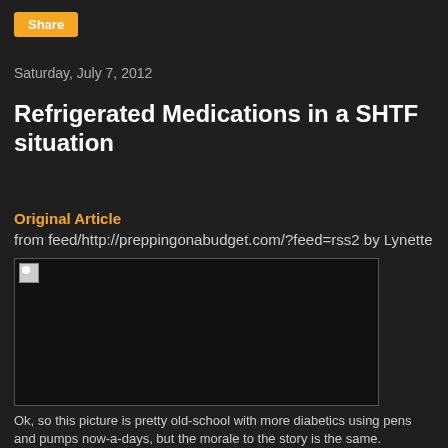Share
Saturday, July 7, 2012
Refrigerated Medications in a SHTF situation
Original Article
from feed/http://preppingonabudget.com/?feed=rss2 by Lynette
[Figure (photo): Broken/missing image placeholder showing a small broken image icon on a dark background]
Ok, so this picture is pretty old-school with more diabetics using pens and pumps now-a-days, but the morale to the story is the same.